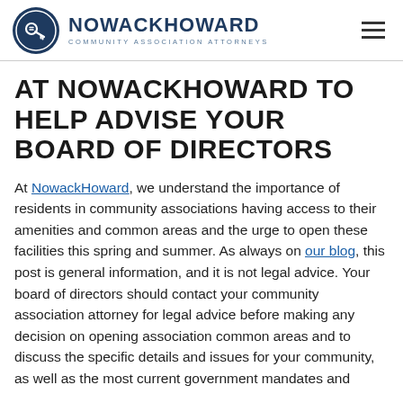NOWACKHOWARD COMMUNITY ASSOCIATION ATTORNEYS
AT NOWACKHOWARD TO HELP ADVISE YOUR BOARD OF DIRECTORS
At NowackHoward, we understand the importance of residents in community associations having access to their amenities and common areas and the urge to open these facilities this spring and summer. As always on our blog, this post is general information, and it is not legal advice. Your board of directors should contact your community association attorney for legal advice before making any decision on opening association common areas and to discuss the specific details and issues for your community, as well as the most current government mandates and